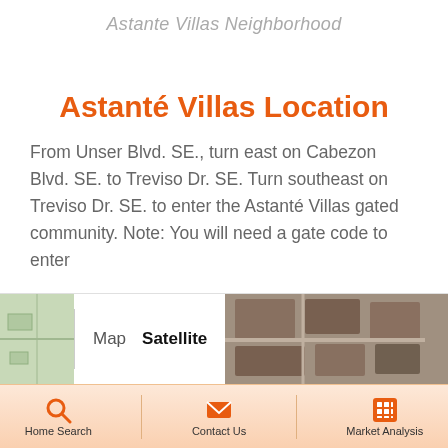Astante Villas Neighborhood
Astanté Villas Location
From Unser Blvd. SE., turn east on Cabezon Blvd. SE. to Treviso Dr. SE.  Turn southeast on Treviso Dr. SE. to enter the Astanté Villas gated community.  Note: You will need a gate code to enter
[Figure (map): Map/Satellite view toggle bar showing Map and Satellite tabs with satellite imagery thumbnail of the neighborhood]
Home Search | Contact Us | Market Analysis